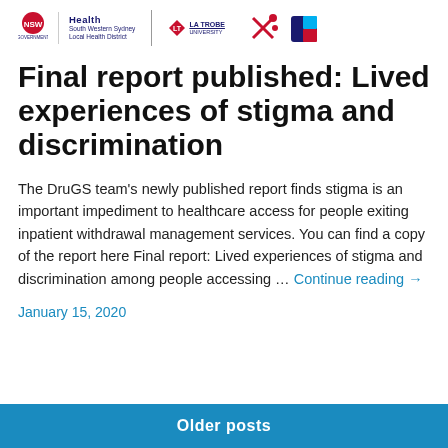[Figure (logo): NSW Health South Western Sydney Local Health District logo, La Trobe University logo, and two additional institution logos in the page header]
Final report published: Lived experiences of stigma and discrimination
The DruGS team's newly published report finds stigma is an important impediment to healthcare access for people exiting inpatient withdrawal management services. You can find a copy of the report here Final report: Lived experiences of stigma and discrimination among people accessing … Continue reading →
January 15, 2020
Older posts